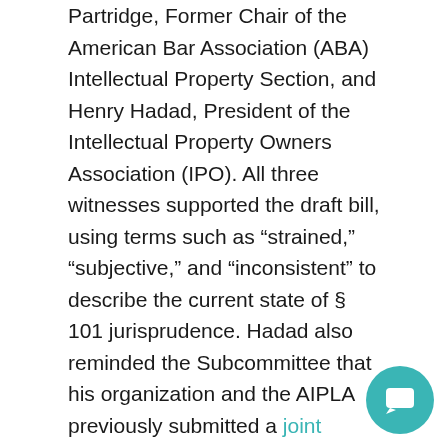Partridge, Former Chair of the American Bar Association (ABA) Intellectual Property Section, and Henry Hadad, President of the Intellectual Property Owners Association (IPO). All three witnesses supported the draft bill, using terms such as “strained,” “subjective,” and “inconsistent” to describe the current state of § 101 jurisprudence. Hadad also reminded the Subcommittee that his organization and the AIPLA previously submitted a joint legislative proposal similar to the draft bill under consideration, underscoring the two organizations’ longstanding commitment to § 101 reform.
Panel II consisted of individuals representing various industry associations, including Paul Morinville,